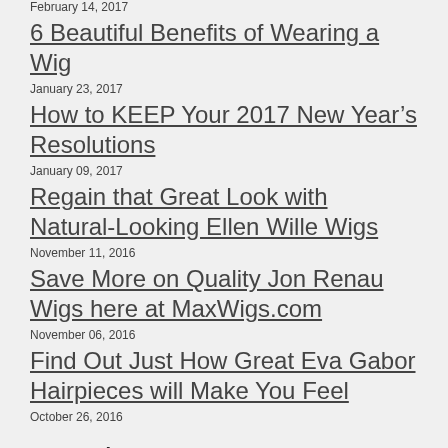February 14, 2017
6 Beautiful Benefits of Wearing a Wig
January 23, 2017
How to KEEP Your 2017 New Year’s Resolutions
January 09, 2017
Regain that Great Look with Natural-Looking Ellen Wille Wigs
November 11, 2016
Save More on Quality Jon Renau Wigs here at MaxWigs.com
November 06, 2016
Find Out Just How Great Eva Gabor Hairpieces will Make You Feel
October 26, 2016
Categories